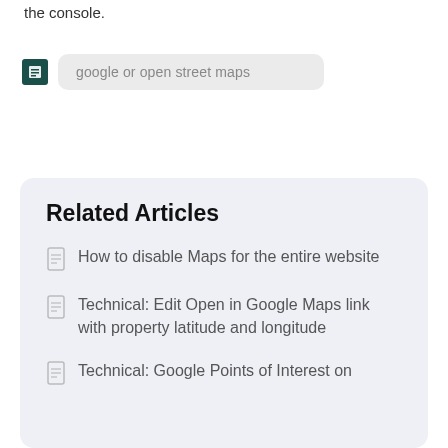the console.
[Figure (screenshot): A search/filter input box with a dark teal square icon on the left and placeholder text 'google or open street maps' in a light grey rounded rectangle]
Related Articles
How to disable Maps for the entire website
Technical: Edit Open in Google Maps link with property latitude and longitude
Technical: Google Points of Interest on Single Property Map